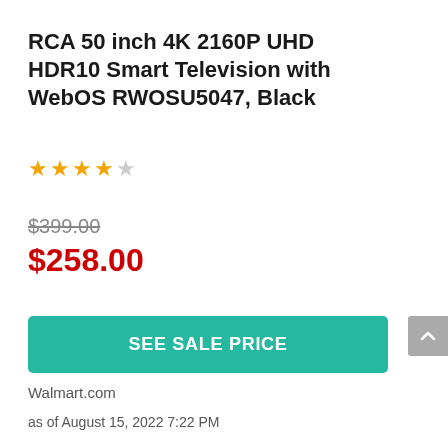RCA 50 inch 4K 2160P UHD HDR10 Smart Television with WebOS RWOSU5047, Black
★★★★☆
$399.00 (strikethrough) $258.00 (sale price)
SEE SALE PRICE
Walmart.com
as of August 15, 2022 7:22 PM